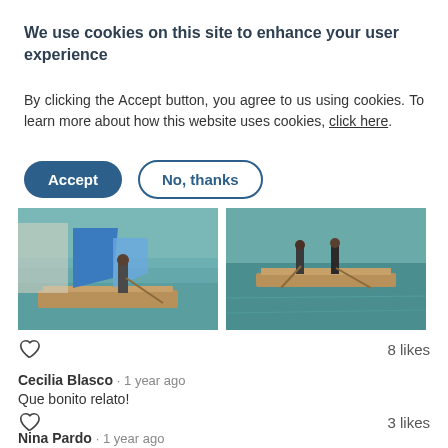We use cookies on this site to enhance your user experience
By clicking the Accept button, you agree to us using cookies. To learn more about how this website uses cookies, click here.
Accept | No, thanks
[Figure (photo): Two photos of people on wooden rafts on a teal/green body of water]
8 likes
Cecilia Blasco · 1 year ago
Que bonito relato!
3 likes
Nina Pardo · 1 year ago
All the photos and stories are so WONDERFUL.. I am